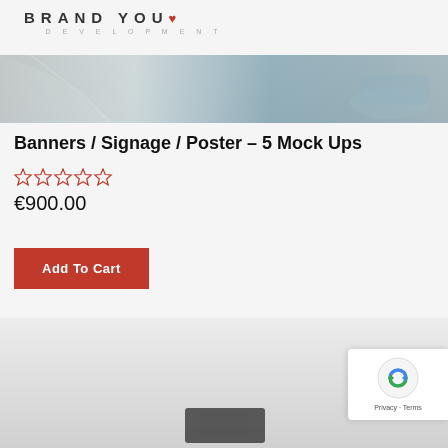[Figure (logo): Brand You Development logo with bold spaced lettering and red Y accent]
[Figure (photo): Hero banner image showing a close-up of a coffee cup and saucer with a marble surface, teal/blue tones]
Banners / Signage / Poster – 5 Mock Ups
[Figure (other): Five empty red star rating icons]
€900.00
Add To Cart
[Figure (photo): Bottom product preview image showing light gray background mockup]
[Figure (other): reCAPTCHA badge with Privacy and Terms text]